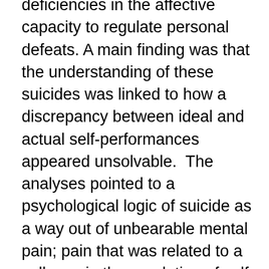deficiencies in the affective capacity to regulate personal defeats. A main finding was that the understanding of these suicides was linked to how a discrepancy between ideal and actual self-performances appeared unsolvable.  The analyses pointed to a psychological logic of suicide as a way out of unbearable mental pain; pain that was related to a collapse in the regulation of self-esteem. Developmentally, these young men appeared to have compensated for their lack of self-worth by exaggerating the importance of success and being successful and thus developed a fragile adult achievement based self-esteem, which left them vulnerable in the face of rejections and perceptions of failures.
Contrary to previous research, suggesting that